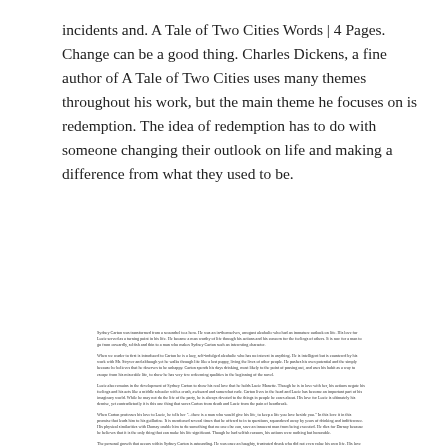incidents and. A Tale of Two Cities Words | 4 Pages. Change can be a good thing. Charles Dickens, a fine author of A Tale of Two Cities uses many themes throughout his work, but the main theme he focuses on is redemption. The idea of redemption has to do with someone changing their outlook on life and making a difference from what they used to be.
Sydney Carton was transformed from a scoundrel to a hero. He was an in-themselves, arrogant alcoholic who had an immature outlook on life. His love for Lucie served as a turning point in his life. He became a man worthy of life through his actions and his concern for the feelings of others. It is rare for a man to go from cowardly, selfish and thin to a man who makes Sydney Carton such an interesting character.
When we reader to first is introduced to Carton he is a lazy, self-indulged alcoholic who has no interest in anything. He is intelligent but is countered by his work with Mr. Stryver and although yet he walks through life like a lost puppy, living the lives of other people. He pushes his own potential and the simply because he believes that he deserves to be unhappy. Carton spends his days drinking, most likely to the point of passing out, and uses his habit as a way to escape from his miserable life, to show he has very few redeeming qualities in the beginning of the novel.
Lucie also remains in the development of Sydney Carton to show his real love that he holds Lucie Manette. Though he is in love with her, his actions negate his feelings and his acts like a middle schooler with a crush, awkward and somewhat rude. Carton lives in the head and Lucie has become an important part of his imaginary world. While he may not do the life of the party, he is always devoted to the things in people he cares about. His love for Lucie is ultimately his demise, yet contradictorily it is this one thing that saves Carton from death and Lucie from the pain of heartbreak.
When Carton professes his love to Lucie, he tells her "...there is a man who would give his life, to keep a life you love beside you." In this love it in this promise that leads him to his guillotine. It is mentioned several times that he offered to in to questions, squandered away by years of drinking and indifference. His physical similarities with Darnay enable him to do something that no one else can, save an innocent man from being executed. He dies for Darnay because he believes that it is the only thing that can make his life significant. Though he had selfish reasons, his actions were nothing but honorable.
The personal growth that occurs within Sydney Carton is astounding. He was once an haughty, frustrated drunk who did not even value his own life. His love for Lucie, whether real or simply an illusion, contributed to his transformation of self. Both his devotion to Lucie and his ever-present self-deprecation lead him to make the most selfless decision he had ever faced. Sydney Carton gives from a man no one could care for, to an honorable man who finally finds peace through death.